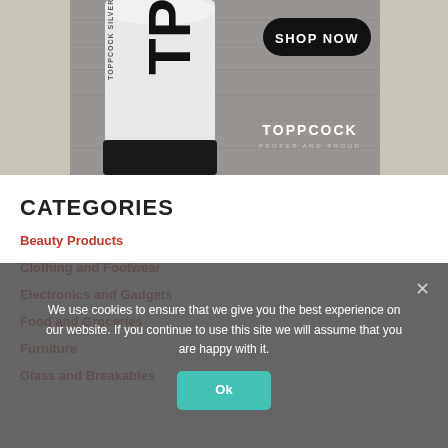[Figure (photo): ToppCock Silver product bottle on wooden surface background with SHOP NOW button and ToppCock Proper and Proud branding]
CATEGORIES
Beauty Products
Clothing and Footwear
Electronics and Gadgets
Food and Groceries
Furniture
Glass and Breakables
We use cookies to ensure that we give you the best experience on our website. If you continue to use this site we will assume that you are happy with it. Ok